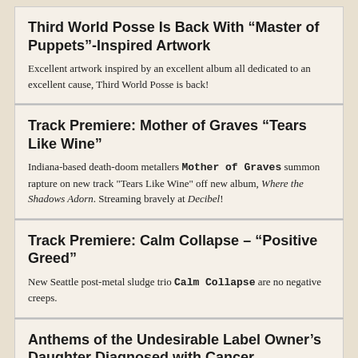Third World Posse Is Back With “Master of Puppets”-Inspired Artwork
Excellent artwork inspired by an excellent album all dedicated to an excellent cause, Third World Posse is back!
Track Premiere: Mother of Graves “Tears Like Wine”
Indiana-based death-doom metallers Mother of Graves summon rapture on new track "Tears Like Wine" off new album, Where the Shadows Adorn. Streaming bravely at Decibel!
Track Premiere: Calm Collapse – “Positive Greed”
New Seattle post-metal sludge trio Calm Collapse are no negative creeps.
Anthems of the Undesirable Label Owner’s Daughter Diagnosed with Cancer. GoFundMe Launched
Please considering donating to ease the considerable medical bills facing the Stoner family and their three-year-